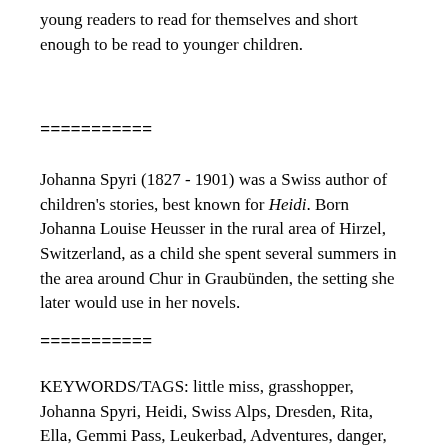young readers to read for themselves and short enough to be read to younger children.
===========
Johanna Spyri (1827 - 1901) was a Swiss author of children's stories, best known for Heidi. Born Johanna Louise Heusser in the rural area of Hirzel, Switzerland, as a child she spent several summers in the area around Chur in Graubünden, the setting she later would use in her novels.
===========
KEYWORDS/TAGS: little miss, grasshopper, Johanna Spyri, Heidi, Swiss Alps, Dresden, Rita, Ella, Gemmi Pass, Leukerbad, Adventures, danger, happy go lucky, bedtime story, ebook